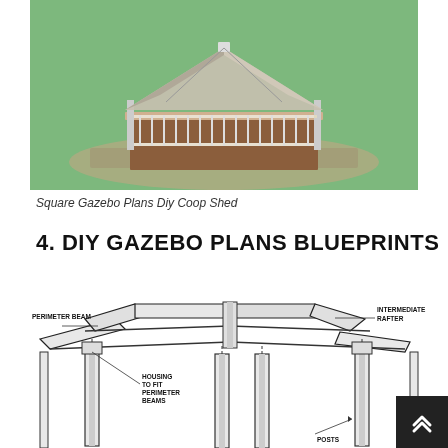[Figure (illustration): 3D rendering of a square gazebo with white railings and railing posts on a stone patio with green grass background]
Square Gazebo Plans Diy Coop Shed
4. DIY GAZEBO PLANS BLUEPRINTS
[Figure (engineering-diagram): Blueprint diagram of gazebo roof framing showing perimeter beam, intermediate rafter, housing to fit perimeter beams, and posts with leader lines and labels]